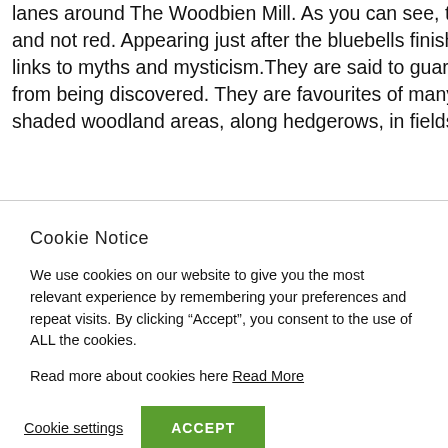lanes around The Woodbien Mill. As you can see, the flowers are a and not red. Appearing just after the bluebells finish flowering, thes links to myths and mysticism.They are said to guard bees' honey s from being discovered. They are favourites of many insects and yo shaded woodland areas, along hedgerows, in fields and ditches a
Cookie Notice
We use cookies on our website to give you the most relevant experience by remembering your preferences and repeat visits. By clicking “Accept”, you consent to the use of ALL the cookies.
Read more about cookies here Read More
Cookie settings   ACCEPT